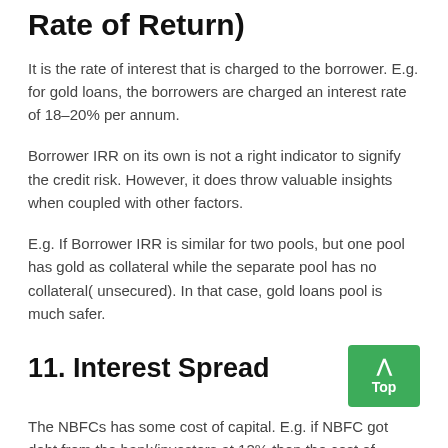Rate of Return)
It is the rate of interest that is charged to the borrower. E.g. for gold loans, the borrowers are charged an interest rate of 18–20% per annum.
Borrower IRR on its own is not a right indicator to signify the credit risk. However, it does throw valuable insights when coupled with other factors.
E.g. If Borrower IRR is similar for two pools, but one pool has gold as collateral while the separate pool has no collateral( unsecured). In that case, gold loans pool is much safer.
11. Interest Spread
The NBFCs has some cost of capital. E.g. if NBFC got debt from the bank/investors at 12% then the cost of capital is 12%.